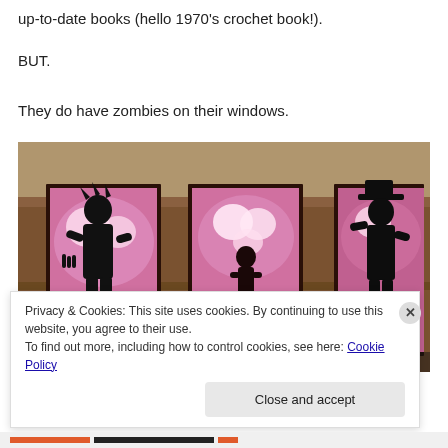up-to-date books (hello 1970's crochet book!).
BUT.
They do have zombies on their windows.
[Figure (photo): Three windows set in a brick wall, each with a zombie silhouette cut-out lit from behind with pink/purple light. Left window shows a female zombie silhouette, center shows a smaller zombie, right shows a tall male zombie in a hat.]
Privacy & Cookies: This site uses cookies. By continuing to use this website, you agree to their use.
To find out more, including how to control cookies, see here: Cookie Policy
Close and accept